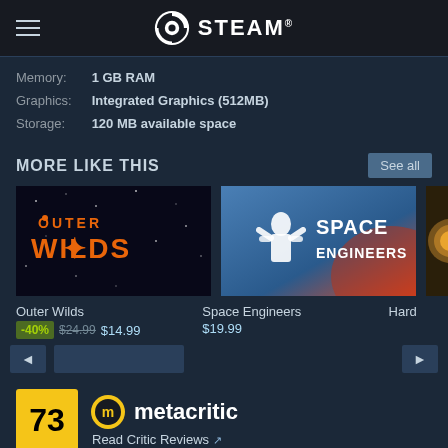STEAM
Memory: 1 GB RAM
Graphics: Integrated Graphics (512MB)
Storage: 120 MB available space
MORE LIKE THIS
[Figure (screenshot): Outer Wilds game thumbnail with orange stylized text logo on dark starfield background]
Outer Wilds
-40% $24.99 $14.99
[Figure (screenshot): Space Engineers game thumbnail with white astronaut figure and blue space background, red accents]
Space Engineers
$19.99
[Figure (screenshot): Partially visible third game card with gold/brown coloring]
Hard
[Figure (infographic): Metacritic score badge showing 73 in yellow box with Metacritic logo and Read Critic Reviews link]